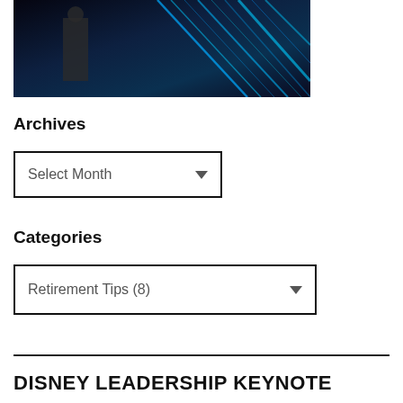[Figure (photo): A dark-themed image with blue neon/tron-style light streaks and a figure in the background, likely a keynote or event photo.]
Archives
[Figure (other): A dropdown selector UI element labeled 'Select Month' with a downward arrow.]
Categories
[Figure (other): A dropdown selector UI element showing 'Retirement Tips  (8)' with a downward arrow.]
DISNEY LEADERSHIP KEYNOTE